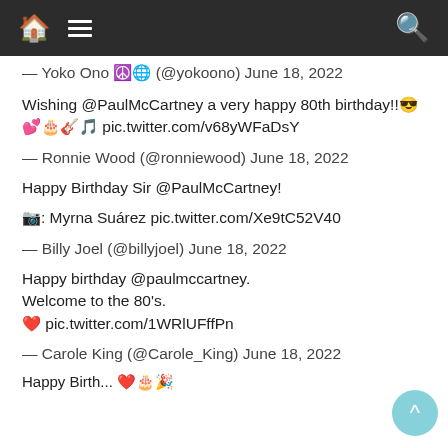Navigation bar with home, menu, and search icons
— Yoko Ono ☮️ (@yokoono) June 18, 2022
Wishing @PaulMcCartney a very happy 80th birthday!!😎💕🎂🎸🎵 pic.twitter.com/v68yWFaDsY
— Ronnie Wood (@ronniewood) June 18, 2022
Happy Birthday Sir @PaulMcCartney!
📷: Myrna Suárez pic.twitter.com/Xe9tC52V40
— Billy Joel (@billyjoel) June 18, 2022
Happy birthday @paulmccartney.
Welcome to the 80's.
❤️ pic.twitter.com/1WRlUFffPn
— Carole King (@Carole_King) June 18, 2022
Happy Birth... ❤️🎉🎂